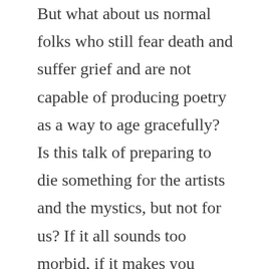But what about us normal folks who still fear death and suffer grief and are not capable of producing poetry as a way to age gracefully? Is this talk of preparing to die something for the artists and the mystics, but not for us? If it all sounds too morbid, if it makes you queasy, you are not alone. Jesus himself admits to a troubled soul when facing his death, and he says, the logical thing would be to beg for deliverance, to ask God to save him from this hour. But he defies the logical response to death, and